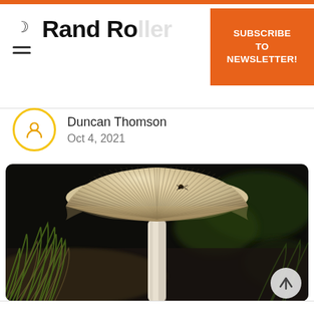Rand Ro...
SUBSCRIBE TO NEWSLETTER!
Duncan Thomson
Oct 4, 2021
[Figure (photo): Close-up macro photograph of a mushroom (Coprinus or similar inky cap species) with distinctive radially-striped cap, surrounded by grass blades in a natural outdoor setting. Background is dark and blurred.]